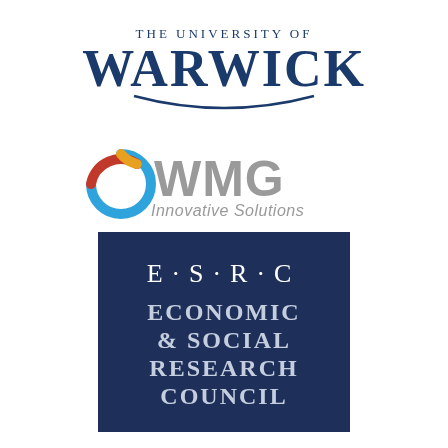[Figure (logo): The University of Warwick logo: text 'THE UNIVERSITY OF' in small caps above large bold 'WARWICK' in dark navy blue, with a decorative arc/underline beneath]
[Figure (logo): WMG Innovative Solutions logo: a multicolored circular swirl icon (blue, red/orange, yellow) to the left of large grey bold 'WMG' text, with 'Innovative Solutions' in grey italic below]
[Figure (logo): ESRC Economic & Social Research Council logo: dark navy blue square containing 'E·S·R·C' in white serif letters and 'ECONOMIC & SOCIAL RESEARCH COUNCIL' in white/light blue bold serif text below]